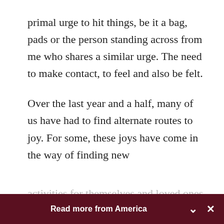primal urge to hit things, be it a bag, pads or the person standing across from me who shares a similar urge. The need to make contact, to feel and also be felt.
Over the last year and a half, many of us have had to find alternate routes to joy. For some, these joys have come in the way of finding new
Read more from America
[Figure (photo): Photo of Pope Francis in white papal vestments, gesturing with his hand]
Pope Francis to give women a role in choosing...
Cindy Wooden - Catholic News Service